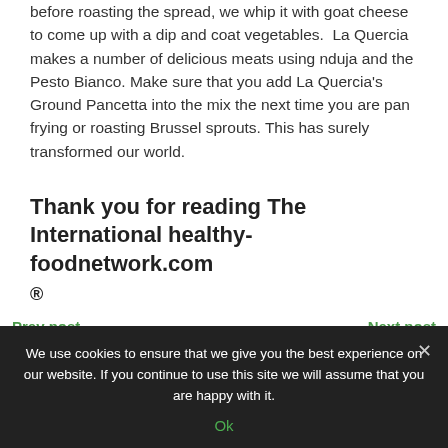before roasting the spread, we whip it with goat cheese to come up with a dip and coat vegetables.  La Quercia makes a number of delicious meats using nduja and the Pesto Bianco. Make sure that you add La Quercia's Ground Pancetta into the mix the next time you are pan frying or roasting Brussel sprouts. This has surely transformed our world.
Thank you for reading The International healthy-foodnetwork.com ®
ADVERTISEMENT
Prev post
Next post
We use cookies to ensure that we give you the best experience on our website. If you continue to use this site we will assume that you are happy with it.
Ok